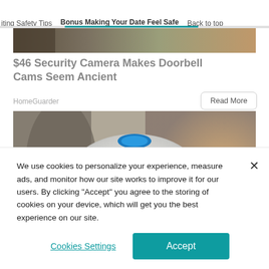iting Safety Tips   Bonus Making Your Date Feel Safe   Back to top
[Figure (photo): Partial top of article image, blurred background photo]
$46 Security Camera Makes Doorbell Cams Seem Ancient
HomeGuarder
Read More
[Figure (photo): Close-up photo of a white dome-shaped security camera with blue LED on top and mesh grille panels, blurred warm-toned background]
We use cookies to personalize your experience, measure ads, and monitor how our site works to improve it for our users. By clicking "Accept" you agree to the storing of cookies on your device, which will get you the best experience on our site.
Cookies Settings
Accept